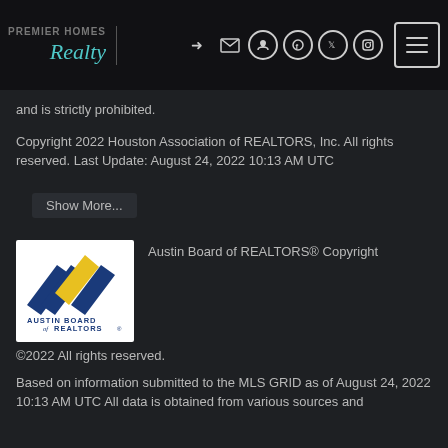Realty — header with navigation icons
and is strictly prohibited.
Copyright 2022 Houston Association of REALTORS, Inc. All rights reserved. Last Update: August 24, 2022 10:13 AM UTC
Show More...
[Figure (logo): Austin Board of REALTORS logo with blue and yellow chevron shapes]
Austin Board of REALTORS® Copyright ©2022 All rights reserved.
Based on information submitted to the MLS GRID as of August 24, 2022 10:13 AM UTC All data is obtained from various sources and